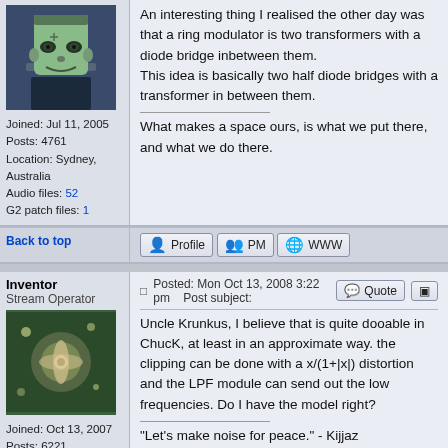[Figure (illustration): Frankenstein monster avatar image, green face on blue/dark background]
Joined: Jul 11, 2005
Posts: 4761
Location: Sydney, Australia
Audio files: 52
G2 patch files: 1
An interesting thing I realised the other day was that a ring modulator is two transformers with a diode bridge inbetween them.
This idea is basically two half diode bridges with a transformer in between them.

What makes a space ours, is what we put there, and what we do there.
Back to top
Profile   PM   WWW
Inventor
Stream Operator
[Figure (photo): Nature/flower close-up photo avatar]
Joined: Oct 13, 2007
Posts: 6221
Location: near Austin, Tx, USA
Audio files: 267
Posted: Mon Oct 13, 2008 3:22 pm   Post subject:
Uncle Krunkus, I believe that is quite dooable in ChucK, at least in an approximate way. the clipping can be done with a x/(1+|x|) distortion and the LPF module can send out the low frequencies. Do I have the model right?

"Let's make noise for peace." - Kijjaz
Back to top
Profile   PM   email